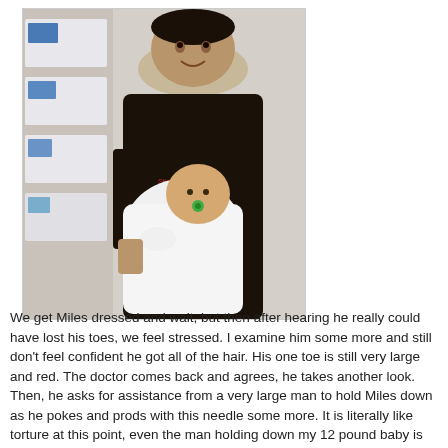[Figure (photo): A man in a black t-shirt holding a baby dressed in white with a green pacifier, smiling at the camera. Behind him are shelves with boxes.]
We get Miles dressed and wait, but then after hearing he really could have lost his toes, we feel stressed. I examine him some more and still don't feel confident he got all of the hair. His one toe is still very large and red. The doctor comes back and agrees, he takes another look. Then, he asks for assistance from a very large man to hold Miles down as he pokes and prods with this needle some more. It is literally like torture at this point, even the man holding down my 12 pound baby is sweating as he watches the doctor dig and bend his toes back to get those